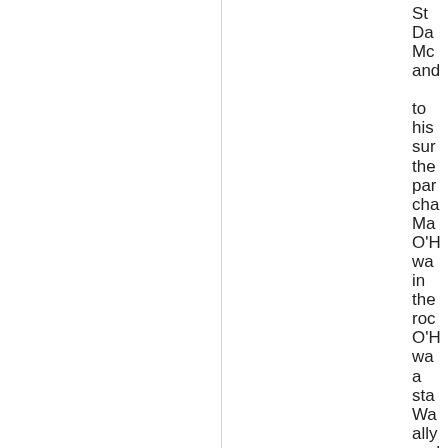St... Da... Mc... and... to his sur... the par... cha... Ma... O'H... wa... in the roc... O'H... wa... a sta... Wa... ally and... wo... he...